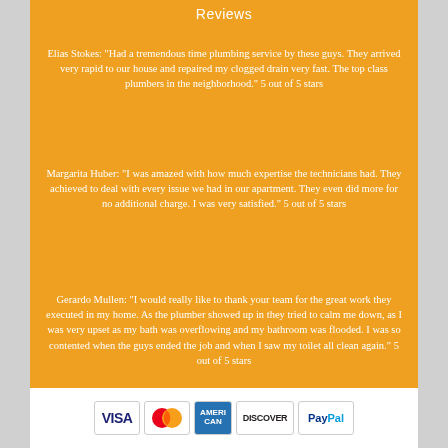Reviews
Elias Stokes: "Had a tremendous time plumbing service by these guys. They arrived very rapid to our house and repaired my clogged drain very fast. The top class plumbers in the neighborhood." 5 out of 5 stars
Margarita Huber: "I was amazed with how much expertise the technicians had. They achieved to deal with every issue we had in our apartment. They even did more for no additional charge. I was very satisfied." 5 out of 5 stars
Gerardo Mullen: "I would really like to thank your team for the great work they executed in my home. As the plumber showed up in they tried to calm me down, as I was very upset as my bath was overflowing and my bathroom was flooded. I was so contented when the guys ended the job and when I saw my toilet all clean again." 5 out of 5 stars
[Figure (infographic): Payment method icons: VISA, MasterCard, American Express, Discover, PayPal]